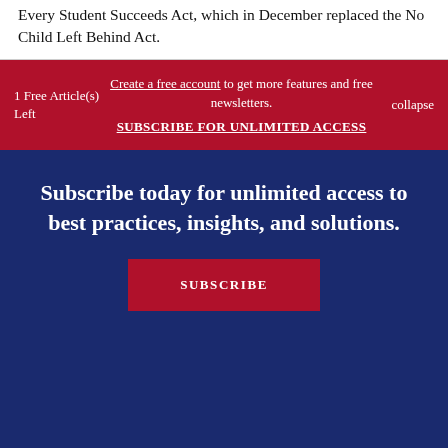Every Student Succeeds Act, which in December replaced the No Child Left Behind Act.
1 Free Article(s) Left
Create a free account to get more features and free newsletters.
SUBSCRIBE FOR UNLIMITED ACCESS
collapse
Subscribe today for unlimited access to best practices, insights, and solutions.
SUBSCRIBE